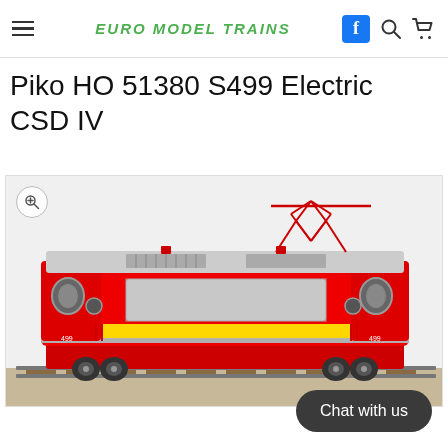euro model trains
Piko HO 51380 S499 Electric CSD IV
[Figure (photo): Product photo of a Piko HO scale 51380 S499 Electric locomotive in CSD IV livery — red body with yellow and silver stripe, red pantograph on roof, displayed on model train track against white background.]
Chat with us